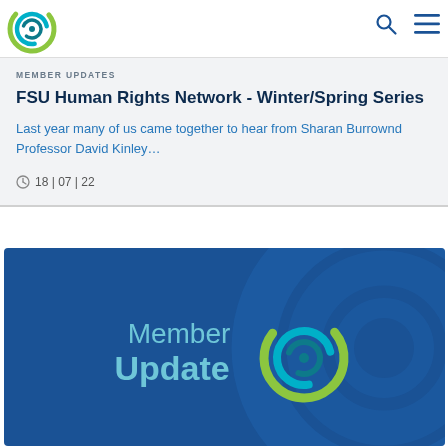FSU Logo and navigation icons
MEMBER UPDATES
FSU Human Rights Network - Winter/Spring Series
Last year many of us came together to hear from Sharan Burrownd Professor David Kinley…
18 | 07 | 22
[Figure (logo): Member Update logo on blue background with circular arrow logo graphic]